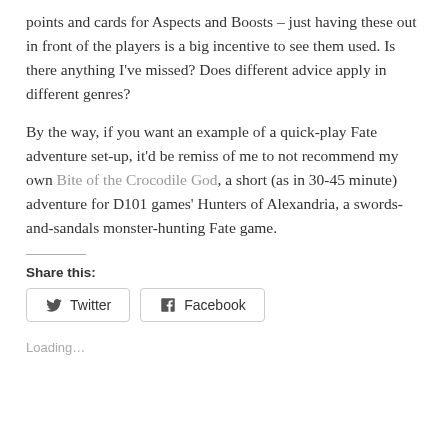points and cards for Aspects and Boosts – just having these out in front of the players is a big incentive to see them used. Is there anything I've missed? Does different advice apply in different genres?
By the way, if you want an example of a quick-play Fate adventure set-up, it'd be remiss of me to not recommend my own Bite of the Crocodile God, a short (as in 30-45 minute) adventure for D101 games' Hunters of Alexandria, a swords-and-sandals monster-hunting Fate game.
Share this:
Twitter    Facebook
Loading…